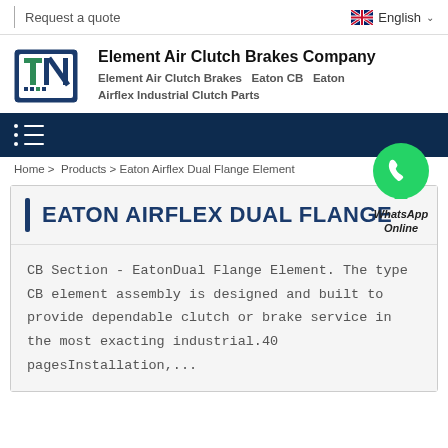Request a quote   English
Element Air Clutch Brakes Company
Element Air Clutch Brakes  Eaton CB  Eaton Airflex Industrial Clutch Parts
[Figure (logo): Company logo with blue and green industrial icon letters TN]
Home > Products > Eaton Airflex Dual Flange Element
[Figure (other): WhatsApp Online green phone bubble icon with label WhatsApp Online]
EATON AIRFLEX DUAL FLANGE
CB Section - EatonDual Flange Element. The type CB element assembly is designed and built to provide dependable clutch or brake service in the most exacting industrial.40 pagesInstallation,...